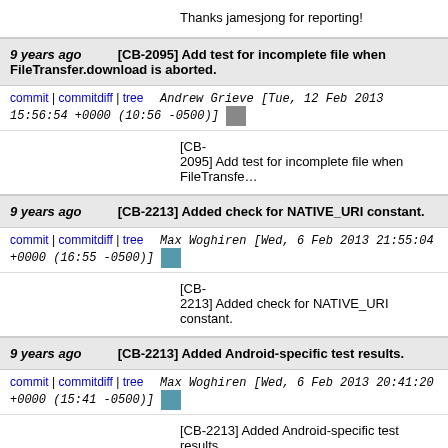Thanks jamesjong for reporting!
9 years ago  [CB-2095] Add test for incomplete file when FileTransfer.download is aborted.
commit | commitdiff | tree   Andrew Grieve [Tue, 12 Feb 2013 15:56:54 +0000 (10:56 -0500)]
[CB-2095] Add test for incomplete file when FileTransfe...
9 years ago  [CB-2213] Added check for NATIVE_URI constant.
commit | commitdiff | tree   Max Woghiren [Wed, 6 Feb 2013 21:55:04 +0000 (16:55 -0500)]
[CB-2213] Added check for NATIVE_URI constant.
9 years ago  [CB-2213] Added Android-specific test results.
commit | commitdiff | tree   Max Woghiren [Wed, 6 Feb 2013 20:41:20 +0000 (15:41 -0500)]
[CB-2213] Added Android-specific test results.